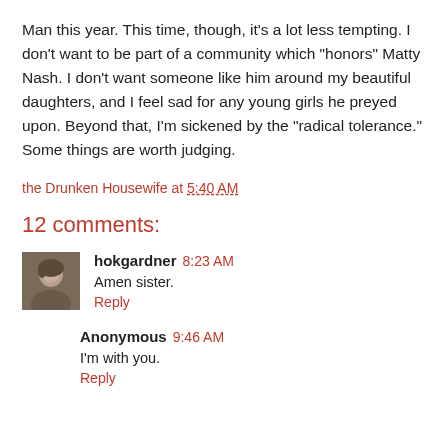Man this year. This time, though, it's a lot less tempting. I don't want to be part of a community which "honors" Matty Nash. I don't want someone like him around my beautiful daughters, and I feel sad for any young girls he preyed upon. Beyond that, I'm sickened by the "radical tolerance." Some things are worth judging.
the Drunken Housewife at 5:40 AM
12 comments:
hokgardner 8:23 AM
Amen sister.
Reply
Anonymous 9:46 AM
I'm with you.
Reply